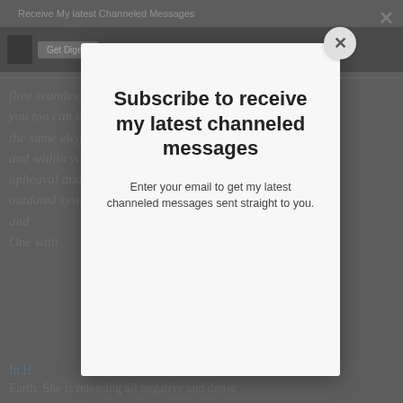Receive My latest Channeled Messages
flow seamlessly around the rocks and trees, you too can move through your reality with the same elegance. There is much occurring on and within your Earth at this time of great upheaval and change. Upheaval of the old, outdated system, of control and power-over, and... One with... equal
Subscribe to receive my latest channeled messages
Enter your email to get my latest channeled messages sent straight to you.
Earth. She is releasing all negative and dense